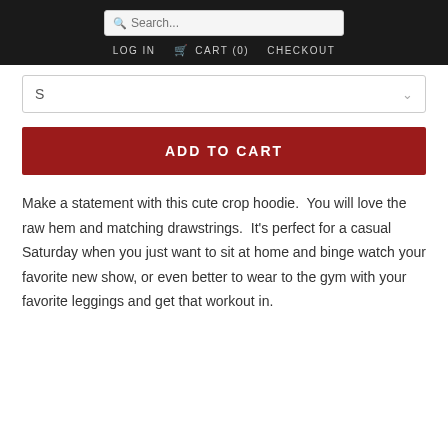Search... LOG IN  CART (0)  CHECKOUT
S
ADD TO CART
Make a statement with this cute crop hoodie.  You will love the raw hem and matching drawstrings.  It's perfect for a casual Saturday when you just want to sit at home and binge watch your favorite new show, or even better to wear to the gym with your favorite leggings and get that workout in.